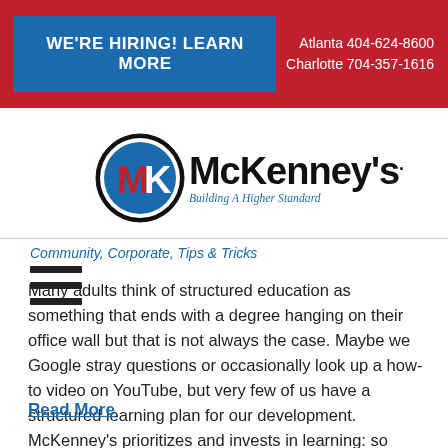WE'RE HIRING! LEARN MORE | Atlanta 404-624-8600 | Charlotte 704-357-1616
[Figure (logo): McKenney's Inc. logo with MK monogram in blue and red circle, company name and tagline 'Building A Higher Standard']
Community, Corporate, Tips & Tricks
Many adults think of structured education as something that ends with a degree hanging on their office wall but that is not always the case. Maybe we Google stray questions or occasionally look up a how-to video on YouTube, but very few of us have a structured learning plan for our development. McKenney's prioritizes and invests in learning: so much …
Read More